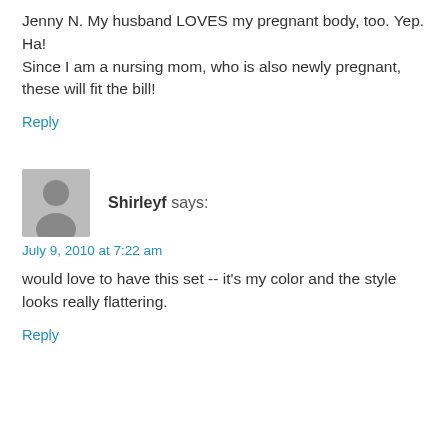Jenny N. My husband LOVES my pregnant body, too. Yep. Ha!
Since I am a nursing mom, who is also newly pregnant, these will fit the bill!
Reply
[Figure (illustration): Generic user avatar icon — grey silhouette of a person on grey square background]
Shirleyf says:
July 9, 2010 at 7:22 am
would love to have this set -- it's my color and the style looks really flattering.
Reply